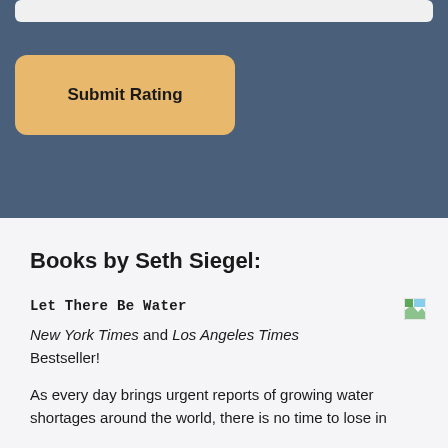[Figure (screenshot): Blue-grey background section with a submit rating button (golden/amber color, rounded rectangle) labeled 'Submit Rating']
Books by Seth Siegel:
Let There Be Water
New York Times and Los Angeles Times Bestseller!
As every day brings urgent reports of growing water shortages around the world, there is no time to lose in